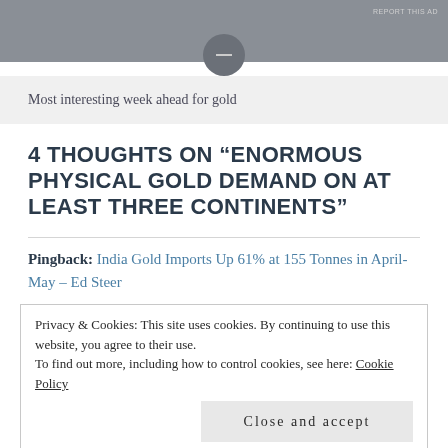[Figure (other): Gray advertisement banner at top of page with circular toggle button and 'REPORT THIS AD' text]
Most interesting week ahead for gold
4 THOUGHTS ON “ENORMOUS PHYSICAL GOLD DEMAND ON AT LEAST THREE CONTINENTS”
Pingback: India Gold Imports Up 61% at 155 Tonnes in April-May – Ed Steer
Privacy & Cookies: This site uses cookies. By continuing to use this website, you agree to their use.
To find out more, including how to control cookies, see here: Cookie Policy
Close and accept
Pingback: Troy Oz Silver | Enormous physical gold demand